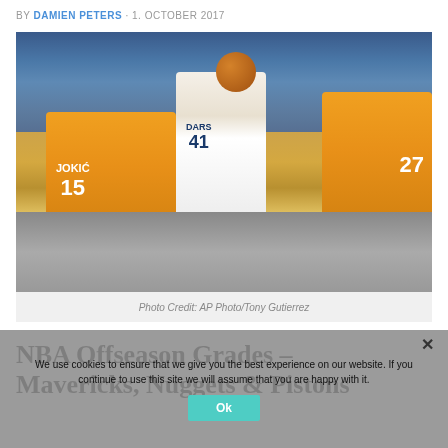BY DAMIEN PETERS · 1. OCTOBER 2017
[Figure (photo): NBA basketball game photo showing a Dallas Mavericks player (#41) shooting over two Denver Nuggets players (#15 Jokic and #27), with a crowd in the background.]
Photo Credit: AP Photo/Tony Gutierrez
NBA Offseason Grades – Mavericks, Nuggets & Pistons
We use cookies to ensure that we give you the best experience on our website. If you continue to use this site we will assume that you are happy with it.